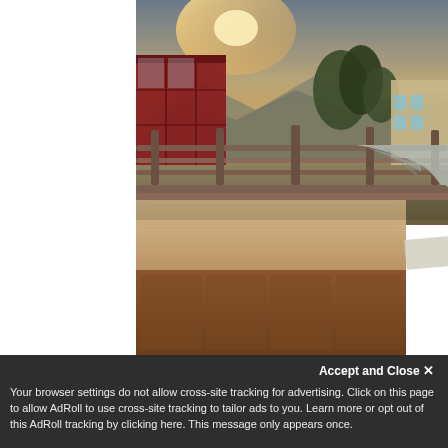[Figure (photo): Outdoor construction or farm scene photographed at sunset/dusk. In the foreground is a large wooden workbench or table surface (plywood top, dark brown wooden frame). Behind it are metal railing/corral fences and a draped grey tarp or fabric. In the background are trees, a red-paneled structure (possibly a shipping container or barn), mountains, and a light-colored building. The sky is illuminated with warm sunset light. The left portion of the image area is white/blank.]
Accept and Close ✕
Your browser settings do not allow cross-site tracking for advertising. Click on this page to allow AdRoll to use cross-site tracking to tailor ads to you. Learn more or opt out of this AdRoll tracking by clicking here. This message only appears once.